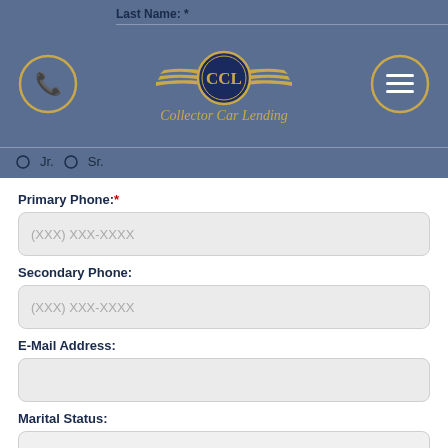Collector Car Lending — site header with logo, phone button, and menu button
Last Name: *
Jr.   Sr.
Primary Phone:*
(XXX) XXX-XXXX
Secondary Phone:
(XXX) XXX-XXXX
E-Mail Address:
Marital Status:
Single
Social Security:*